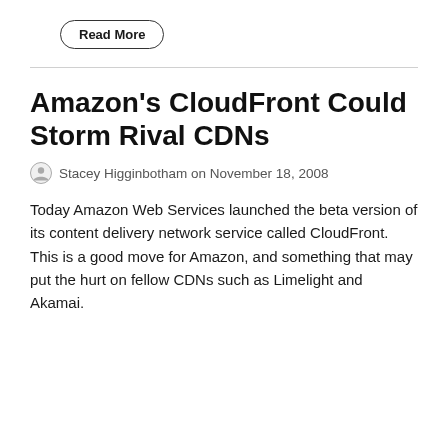Read More
Amazon’s CloudFront Could Storm Rival CDNs
Stacey Higginbotham on November 18, 2008
Today Amazon Web Services launched the beta version of its content delivery network service called CloudFront. This is a good move for Amazon, and something that may put the hurt on fellow CDNs such as Limelight and Akamai.